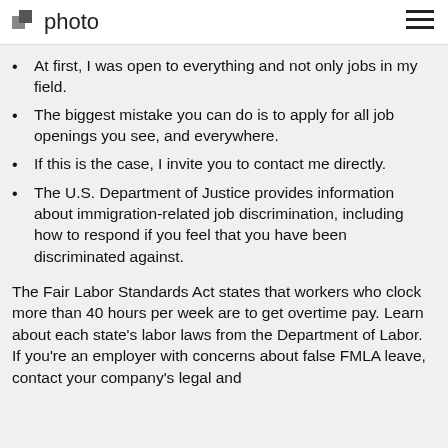photo
At first, I was open to everything and not only jobs in my field.
The biggest mistake you can do is to apply for all job openings you see, and everywhere.
If this is the case, I invite you to contact me directly.
The U.S. Department of Justice provides information about immigration-related job discrimination, including how to respond if you feel that you have been discriminated against.
The Fair Labor Standards Act states that workers who clock more than 40 hours per week are to get overtime pay. Learn about each state's labor laws from the Department of Labor. If you're an employer with concerns about false FMLA leave, contact your company's legal and